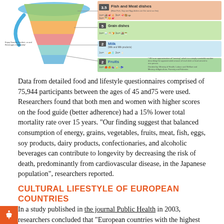[Figure (infographic): Japanese food guide spinning top / inverted pyramid infographic showing food groups with icons and serving counts (Fish and Meat dishes 3.5, Milk 2, Fruits 2), with notes about servings decided by Ministry of Health, Labour and Welfare and Ministry of Agriculture, Forestry and Fisheries.]
Data from detailed food and lifestyle questionnaires comprised of 75,944 participants between the ages of 45 and75 were used. Researchers found that both men and women with higher scores on the food guide (better adherence) had a 15% lower total mortality rate over 15 years. “Our finding suggest that balanced consumption of energy, grains, vegetables, fruits, meat, fish, eggs, soy products, dairy products, confectionaries, and alcoholic beverages can contribute to longevity by decreasing the risk of death, predominantly from cardiovascular disease, in the Japanese population”, researchers reported.
CULTURAL LIFESTYLE OF EUROPEAN COUNTRIES
In a study published in the journal Public Health in 2003, researchers concluded that “European countries with the highest levels of walking and cycling have much lower rates of obesity,